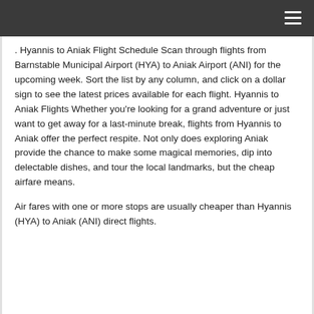. Hyannis to Aniak Flight Schedule Scan through flights from Barnstable Municipal Airport (HYA) to Aniak Airport (ANI) for the upcoming week. Sort the list by any column, and click on a dollar sign to see the latest prices available for each flight. Hyannis to Aniak Flights Whether you’re looking for a grand adventure or just want to get away for a last-minute break, flights from Hyannis to Aniak offer the perfect respite. Not only does exploring Aniak provide the chance to make some magical memories, dip into delectable dishes, and tour the local landmarks, but the cheap airfare means.
Air fares with one or more stops are usually cheaper than Hyannis (HYA) to Aniak (ANI) direct flights.